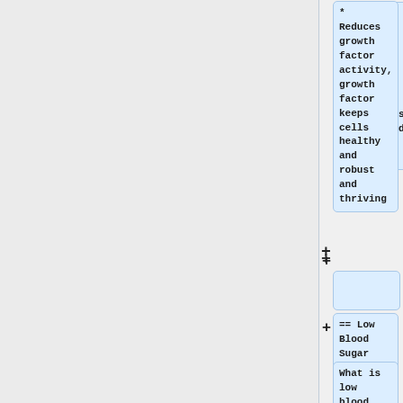* Reduces growth factor activity, growth factor keeps cells healthy and robust and thriving
(empty block with + toggle)
== Low Blood Sugar ==
What is low blood sugar?  The American